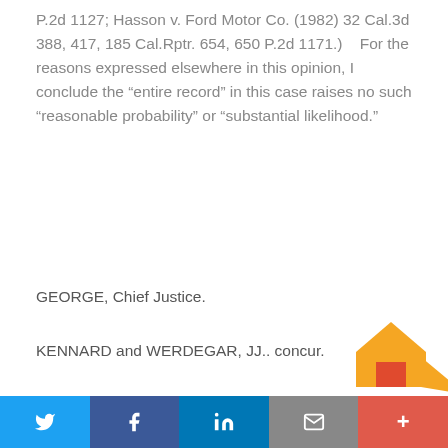P.2d 1127; Hasson v. Ford Motor Co. (1982) 32 Cal.3d 388, 417, 185 Cal.Rptr. 654, 650 P.2d 1171.)    For the reasons expressed elsewhere in this opinion, I conclude the “entire record” in this case raises no such “reasonable probability” or “substantial likelihood.”
GEORGE, Chief Justice.
KENNARD and WERDEGAR, JJ.. concur.
FINDLAW NEWSLETTERS
Stay up-to-date with FindLaw’s newsletter for legal professionals
Enter your email address:
[Figure (logo): FindLaw house/arrow logo in orange and red]
[Figure (infographic): Social sharing bar with Twitter, Facebook, LinkedIn, Email, and More buttons]